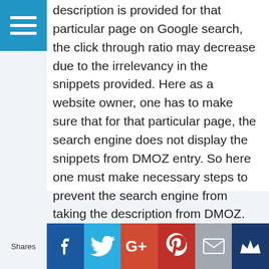description is provided for that particular page on Google search, the click through ratio may decrease due to the irrelevancy in the snippets provided. Here as a website owner, one has to make sure that for that particular page, the search engine does not display the snippets from DMOZ entry. So here one must make necessary steps to prevent the search engine from taking the description from DMOZ.
[Read more…]
ONLINE MARKETING  META TAGS, PREVENT, SEARCH ENIGINES, SNIPPETS
[Figure (infographic): Social sharing bar with Facebook, Twitter, Google+, Pinterest, Email, and Crown icon buttons. Left shows 'Shares' label.]